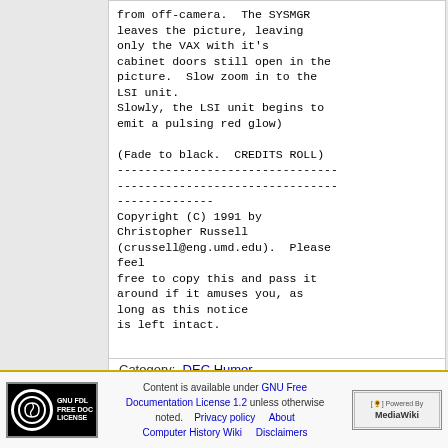from off-camera.  The SYSMGR
leaves the picture, leaving
only the VAX with it's
cabinet doors still open in the
picture.  Slow zoom in to the
LSI unit.
Slowly, the LSI unit begins to
emit a pulsing red glow)

(Fade to black.  CREDITS ROLL)
--------------------------------
--------------------------------
--------------
Copyright (C) 1991 by
Christopher Russell
(crussell@eng.umd.edu).  Please
feel
free to copy this and pass it
around if it amuses you, as
long as this notice
is left intact.
Category:  DEC Humor
Content is available under GNU Free Documentation License 1.2 unless otherwise noted.  Privacy policy  About Computer History Wiki  Disclaimers